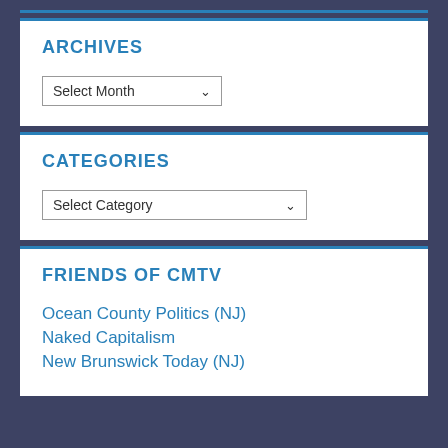ARCHIVES
Select Month
CATEGORIES
Select Category
FRIENDS OF CMTV
Ocean County Politics (NJ)
Naked Capitalism
New Brunswick Today (NJ)